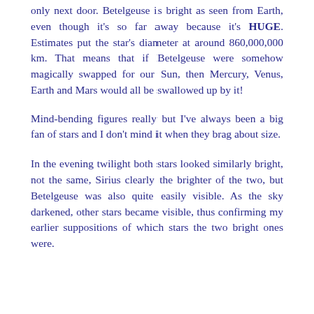only next door. Betelgeuse is bright as seen from Earth, even though it's so far away because it's HUGE. Estimates put the star's diameter at around 860,000,000 km. That means that if Betelgeuse were somehow magically swapped for our Sun, then Mercury, Venus, Earth and Mars would all be swallowed up by it!
Mind-bending figures really but I've always been a big fan of stars and I don't mind it when they brag about size.
In the evening twilight both stars looked similarly bright, not the same, Sirius clearly the brighter of the two, but Betelgeuse was also quite easily visible. As the sky darkened, other stars became visible, thus confirming my earlier suppositions of which stars the two bright ones were.